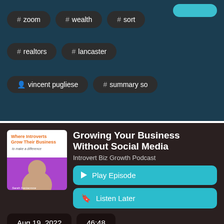# zoom
# wealth
# sort
# realtors
# lancaster
person vincent pugliese
# summary so
Growing Your Business Without Social Media
Introvert Biz Growth Podcast
Play Episode
Listen Later
Aug 19, 2022
46:48
Today I'm talking to Vin Guru about growing your